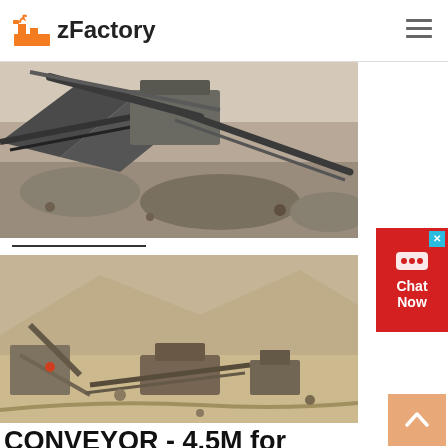zFactory
[Figure (photo): Industrial conveyor/crusher machinery at a mining site, close-up view from above showing belt conveyors and rock crushing equipment on gravel ground.]
[Figure (photo): Aerial or elevated view of a quarry/mining site showing conveyor equipment and crushing machinery on a dusty hillside with mountains in background.]
CONVEYOR - 4.5M for Rent - Kennards Hire
CONVEYOR - 4.5M. A portable and